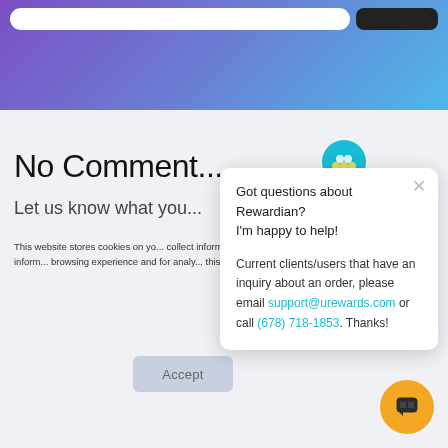[Figure (screenshot): Top gradient navigation bar with purple-to-blue gradient, white search bar and dark search button]
No Comment...
Let us know what you...
This website stores cookies on your computer to collect information about how you interact with us, remember you. We use this information in order to browsing experience and for analytics and metrics about this website and other media. To find out more about our Privacy Policy.
[Figure (infographic): Chat popup card from Rewardian with teal logo circle and close X button. Text: Got questions about Rewardian? I'm happy to help! Current clients/users that have an inquiry about an order, please email support@urewards.com or call (678) 718-1853. Thanks!]
Accept
[Figure (illustration): Yellow circular chat FAB button with dark chat icon]